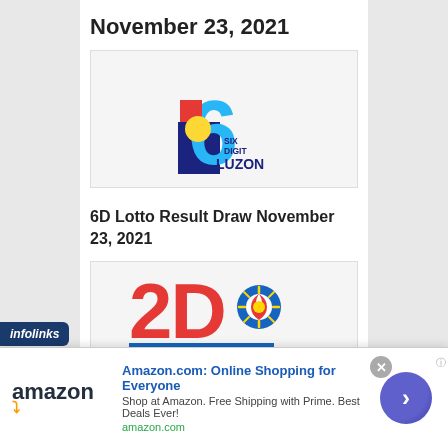November 23, 2021
[Figure (logo): 6D Lotto Six Digit Luzon logo — a large cyan '6' with a dark blue rectangular base, red square and yellow circle forming a dice/globe symbol, with text 'SIX DIGIT LUZON' below]
6D Lotto Result Draw November 23, 2021
[Figure (logo): 2D Lotto logo — bold red '2D' lettering with a PCSO sun/star swirl logo inside, and 'LOTTO' in yellow on a dark blue banner below]
infolinks
Amazon.com: Online Shopping for Everyone
Shop at Amazon. Free Shipping with Prime. Best Deals Ever!
amazon.com